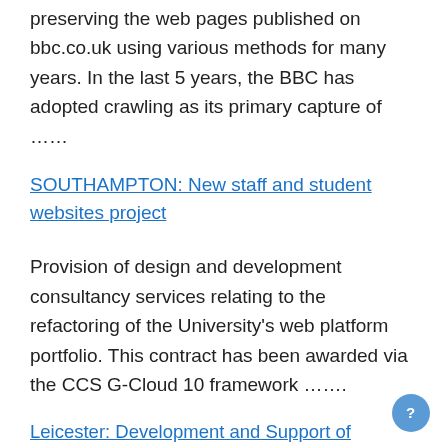preserving the web pages published on bbc.co.uk using various methods for many years. In the last 5 years, the BBC has adopted crawling as its primary capture of ……
SOUTHAMPTON: New staff and student websites project
Provision of design and development consultancy services relating to the refactoring of the University's web platform portfolio. This contract has been awarded via the CCS G-Cloud 10 framework …….
Leicester: Development and Support of Umbraco Websites
Leicester City Council are seeking an Umbraco